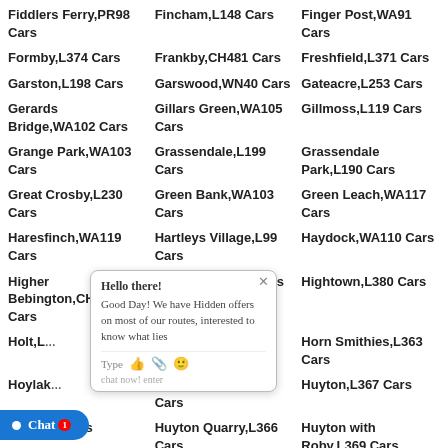Fiddlers Ferry,PR98 Cars
Fincham,L148 Cars
Finger Post,WA91 Cars
Formby,L374 Cars
Frankby,CH481 Cars
Freshfield,L371 Cars
Garston,L198 Cars
Garswood,WN40 Cars
Gateacre,L253 Cars
Gerards Bridge,WA102 Cars
Gillars Green,WA105 Cars
Gillmoss,L119 Cars
Grange Park,WA103 Cars
Grassendale,L199 Cars
Grassendale Park,L190 Cars
Great Crosby,L230 Cars
Green Bank,WA103 Cars
Green Leach,WA117 Cars
Haresfinch,WA119 Cars
Hartleys Village,L99 Cars
Haydock,WA110 Cars
Higher Bebington,CH338 Cars
High Park,PR97 Cars
Hightown,L380 Cars
Holt,L...
Homer Green,L298 Cars
Horn Smithies,L363 Cars
Hoylab...
Hunts Cross,L250 Cars
Huyton,L367 Cars
Huyton...Cars
Huyton Quarry,L366 Cars
Huyton with Roby,L369 Cars
Irby,CH613 Cars
Irby Hill,CH481 Cars
Kensington,L72 Cars
Kirkby,L328 Cars
Kirkby Park,L322 Cars
Kirkdale,L41 Cars